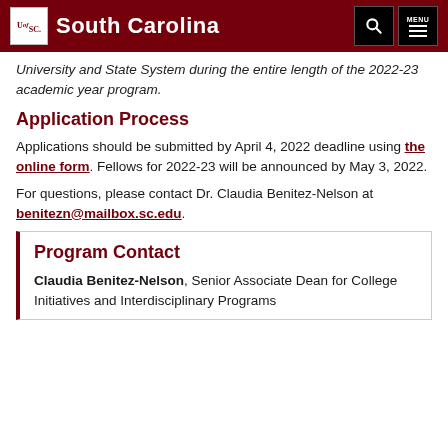University of South Carolina
University and State System during the entire length of the 2022-23 academic year program.
Application Process
Applications should be submitted by April 4, 2022 deadline using the online form. Fellows for 2022-23 will be announced by May 3, 2022.
For questions, please contact Dr. Claudia Benitez-Nelson at benitezn@mailbox.sc.edu.
Program Contact
Claudia Benitez-Nelson, Senior Associate Dean for College Initiatives and Interdisciplinary Programs